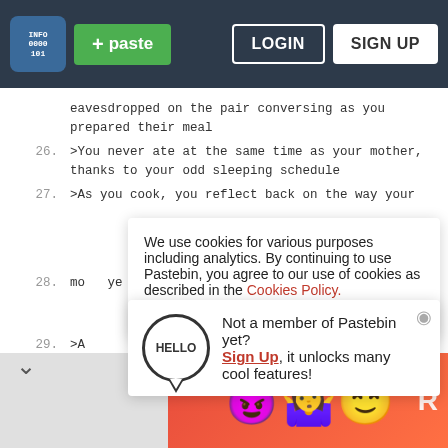Pastebin navigation bar with logo, + paste button, LOGIN and SIGN UP buttons
eavesdropped on the pair conversing as you prepared their meal
26. >You never ate at the same time as your mother, thanks to your odd sleeping schedule
27. >As you cook, you reflect back on the way your mo... ye...
28. >Y... everything that it entails
We use cookies for various purposes including analytics. By continuing to use Pastebin, you agree to our use of cookies as described in the Cookies Policy. OK, I Understand
29. >A... te...
>W...
Not a member of Pastebin yet? Sign Up, it unlocks many cool features!
[Figure (illustration): Advertisement banner with devil, person, and angel emoji on red/orange background]